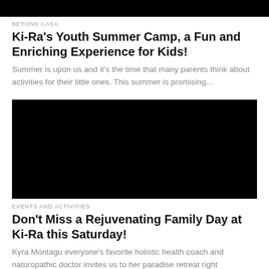[Figure (photo): Black banner image at top of page]
BEYOND CASA
Ki-Ra's Youth Summer Camp, a Fun and Enriching Experience for Kids!
Summer is upon us and it's the time that many parents think about activities for their little ones. This summer is promising...
[Figure (photo): Black rectangle image in middle of page]
EVENTS AND ACTIVITIES
Don't Miss a Rejuvenating Family Day at Ki-Ra this Saturday!
Kyra Montagu everyone's favorite holistic health coach and naturopathic doctor invites us to her paradise retreat right